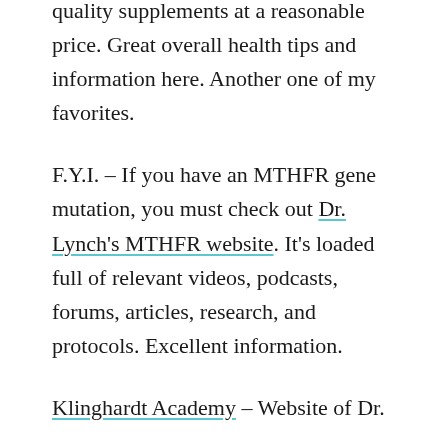quality supplements at a reasonable price. Great overall health tips and information here. Another one of my favorites.
F.Y.I. – If you have an MTHFR gene mutation, you must check out Dr. Lynch's MTHFR website. It's loaded full of relevant videos, podcasts, forums, articles, research, and protocols. Excellent information.
Klinghardt Academy – Website of Dr.